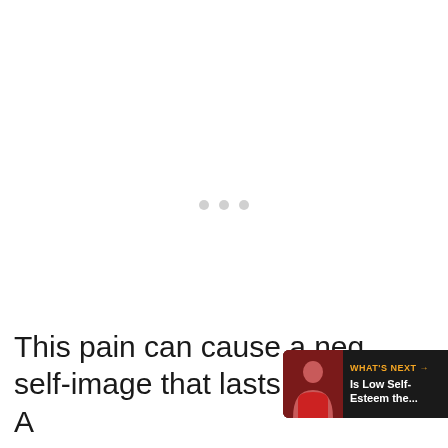[Figure (illustration): White/blank content area with three light gray loading dots centered horizontally, indicating content is loading]
[Figure (illustration): Orange circular like/heart button on the right side]
[Figure (illustration): Dark share button with count badge showing '1' on the right side]
[Figure (illustration): 'What's Next' overlay panel in bottom-right with thumbnail image and text 'Is Low Self-Esteem the...']
This pain can cause a negative self-image that lasts a lifetime. A